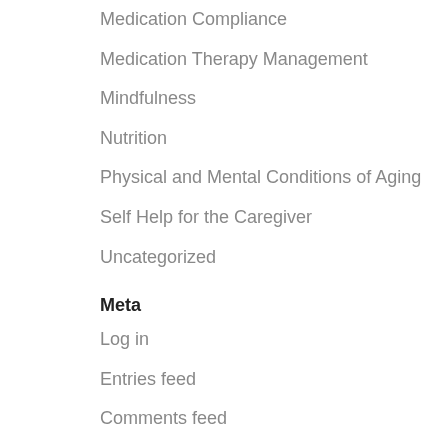Medication Compliance
Medication Therapy Management
Mindfulness
Nutrition
Physical and Mental Conditions of Aging
Self Help for the Caregiver
Uncategorized
Meta
Log in
Entries feed
Comments feed